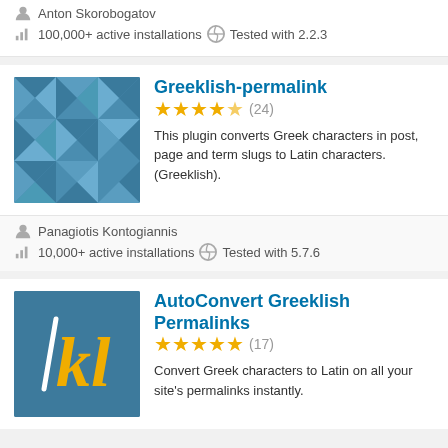Anton Skorobogatov
100,000+ active installations   Tested with 2.2.3
Greeklish-permalink
★★★★½ (24)
This plugin converts Greek characters in post, page and term slugs to Latin characters. (Greeklish).
Panagiotis Kontogiannis
10,000+ active installations   Tested with 5.7.6
AutoConvert Greeklish Permalinks
★★★★★ (17)
Convert Greek characters to Latin on all your site's permalinks instantly.